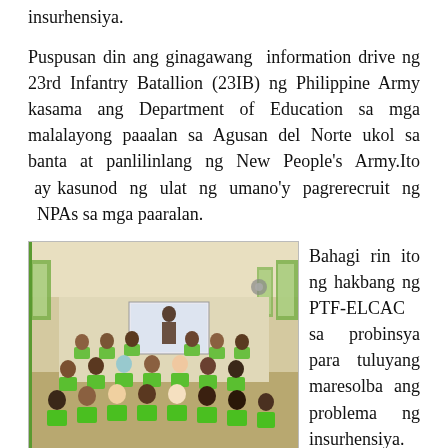insurhensiya.
Puspusan din ang ginagawang information drive ng 23rd Infantry Batallion (23IB) ng Philippine Army kasama ang Department of Education sa mga malalayong paaalan sa Agusan del Norte ukol sa banta at panlilinlang ng New People's Army.Ito ay kasunod ng ulat ng umano'y pagrerecruit ng NPAs sa mga paaralan.
[Figure (photo): Classroom scene showing students seated on green chairs facing a presenter at the front of the room with a whiteboard, taken during an information drive at a school.]
Bahagi rin ito ng hakbang ng PTF-ELCAC sa probinsya para tuluyang maresolba ang problema ng insurhensiya.
Sa ginawang information drive, pinakiusapan din ni ang district representative Marina Ayodin